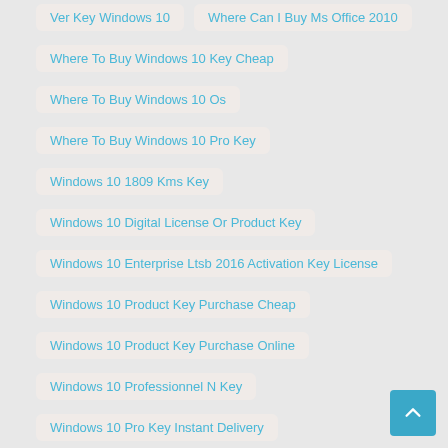Ver Key Windows 10
Where Can I Buy Ms Office 2010
Where To Buy Windows 10 Key Cheap
Where To Buy Windows 10 Os
Where To Buy Windows 10 Pro Key
Windows 10 1809 Kms Key
Windows 10 Digital License Or Product Key
Windows 10 Enterprise Ltsb 2016 Activation Key License
Windows 10 Product Key Purchase Cheap
Windows 10 Product Key Purchase Online
Windows 10 Professionnel N Key
Windows 10 Pro Key Instant Delivery
Windows 10 Pro Product Key Download